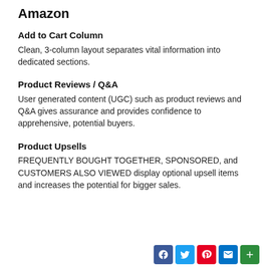Amazon
Add to Cart Column
Clean, 3-column layout separates vital information into dedicated sections.
Product Reviews / Q&A
User generated content (UGC) such as product reviews and Q&A gives assurance and provides confidence to apprehensive, potential buyers.
Product Upsells
FREQUENTLY BOUGHT TOGETHER, SPONSORED, and CUSTOMERS ALSO VIEWED display optional upsell items and increases the potential for bigger sales.